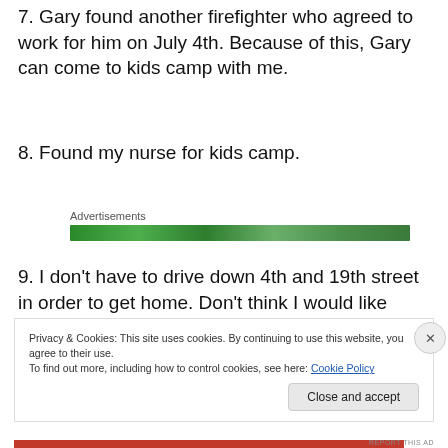7. Gary found another firefighter who agreed to work for him on July 4th. Because of this, Gary can come to kids camp with me.
8. Found my nurse for kids camp.
[Figure (other): Green advertisement banner bar labeled 'Advertisements']
9. I don't have to drive down 4th and 19th street in order to get home. Don't think I would like seeing the devastation on a daily basis.
Privacy & Cookies: This site uses cookies. By continuing to use this website, you agree to their use. To find out more, including how to control cookies, see here: Cookie Policy